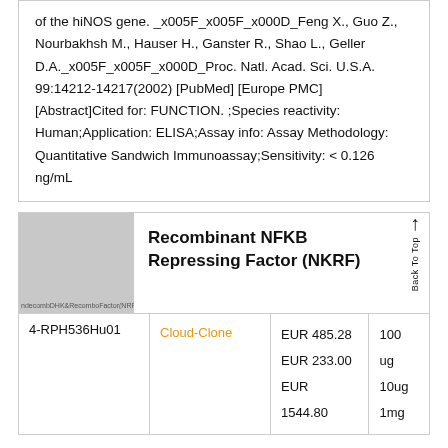of the hiNOS gene. _x005F_x005F_x000D_Feng X., Guo Z., Nourbakhsh M., Hauser H., Ganster R., Shao L., Geller D.A._x005F_x005F_x000D_Proc. Natl. Acad. Sci. U.S.A. 99:14212-14217(2002) [PubMed] [Europe PMC] [Abstract]Cited for: FUNCTION. ;Species reactivity: Human;Application: ELISA;Assay info: Assay Methodology: Quantitative Sandwich Immunoassay;Sensitivity: < 0.126 ng/mL
[Figure (photo): Product image placeholder showing 'Recombinant NFKB Repressing Factor (NKR' watermark text on gray background]
Recombinant NFKB Repressing Factor (NKRF)
|  |  |  |  |
| --- | --- | --- | --- |
| 4-RPH536Hu01 | Cloud-Clone | EUR 485.28
EUR 233.00
EUR 1544.80 | 100 ug
10ug
1mg |